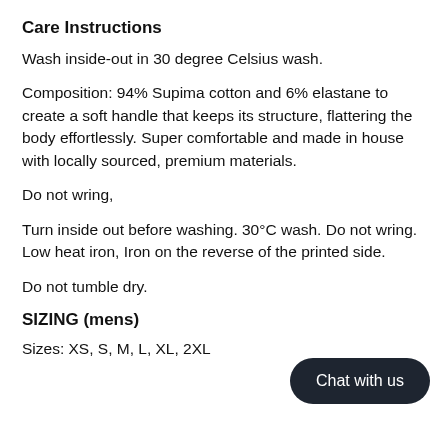Care Instructions
Wash inside-out in 30 degree Celsius wash.
Composition: 94% Supima cotton and 6% elastane to create a soft handle that keeps its structure, flattering the body effortlessly. Super comfortable and made in house with locally sourced, premium materials.
Do not wring,
Turn inside out before washing. 30°C wash. Do not wring. Low heat iron, Iron on the reverse of the printed side.
Do not tumble dry.
SIZING (mens)
Sizes: XS, S, M, L, XL, 2XL